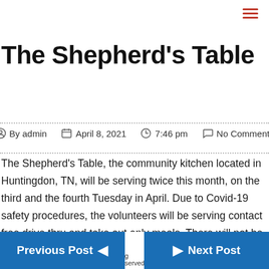≡ (hamburger menu)
The Shepherd's Table
By admin   April 8, 2021   7:46 pm   No Comments
The Shepherd's Table, the community kitchen located in Huntingdon, TN, will be serving twice this month, on the third and the fourth Tuesday in April. Due to Covid-19 safety procedures, the volunteers will be serving contact free drive thru and take out only meals. There will not be a dine-in option until further notice.
Previous Post   Next Post